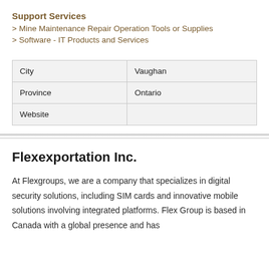Support Services
> Mine Maintenance Repair Operation Tools or Supplies
> Software - IT Products and Services
| City | Vaughan |
| Province | Ontario |
| Website |  |
Flexexportation Inc.
At Flexgroups, we are a company that specializes in digital security solutions, including SIM cards and innovative mobile solutions involving integrated platforms. Flex Group is based in Canada with a global presence and has